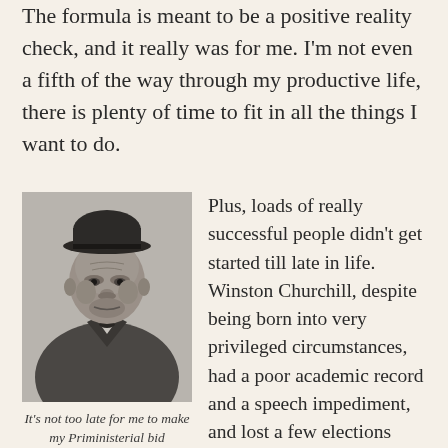The formula is meant to be a positive reality check, and it really was for me. I'm not even a fifth of the way through my productive life, there is plenty of time to fit in all the things I want to do.
[Figure (photo): Black and white photograph of Winston Churchill wearing a bowler hat and suit, looking serious.]
It's not too late for me to make my Priministerial bid
Plus, loads of really successful people didn't get started till late in life. Winston Churchill, despite being born into very privileged circumstances, had a poor academic record and a speech impediment, and lost a few elections before becoming Prime